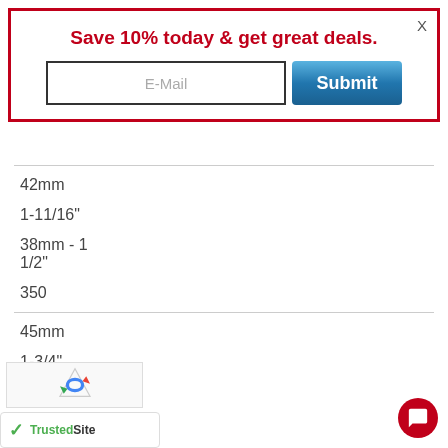Save 10% today & get great deals.
E-Mail
Submit
X
42mm
1-11/16"
38mm - 1
1/2"
350
45mm
1-3/4"
[Figure (logo): reCAPTCHA logo with blue and red arrow icon]
[Figure (logo): TrustedSite badge with green checkmark]
[Figure (other): Red circular chat/message button]